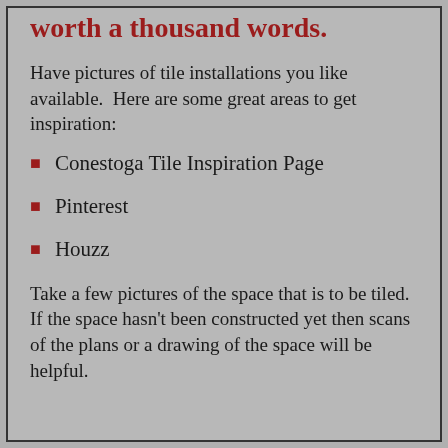worth a thousand words.
Have pictures of tile installations you like available.  Here are some great areas to get inspiration:
Conestoga Tile Inspiration Page
Pinterest
Houzz
Take a few pictures of the space that is to be tiled. If the space hasn't been constructed yet then scans of the plans or a drawing of the space will be helpful.